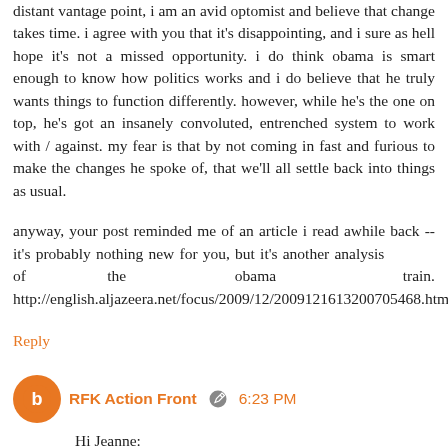distant vantage point, i am an avid optomist and believe that change takes time. i agree with you that it's disappointing, and i sure as hell hope it's not a missed opportunity. i do think obama is smart enough to know how politics works and i do believe that he truly wants things to function differently. however, while he's the one on top, he's got an insanely convoluted, entrenched system to work with / against. my fear is that by not coming in fast and furious to make the changes he spoke of, that we'll all settle back into things as usual.

anyway, your post reminded me of an article i read awhile back -- it's probably nothing new for you, but it's another analysis of the obama train. http://english.aljazeera.net/focus/2009/12/2009121613200705468.html
Reply
RFK Action Front  6:23 PM
Hi Jeanne: